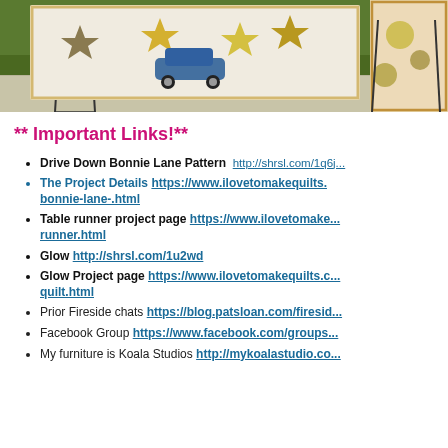[Figure (photo): Photo of quilts displayed outdoors on stands, showing decorative quilts with star and car patterns on a sidewalk with green grass in background. Two quilt panels visible.]
** Important Links!**
Drive Down Bonnie Lane Pattern  http://shrsl.com/1q6j...
The Project Details https://www.ilovetomakequilts....bonnie-lane-.html
Table runner project page https://www.ilovetomake...runner.html
Glow http://shrsl.com/1u2wd
Glow Project page https://www.ilovetomakequilts.c...quilt.html
Prior Fireside chats https://blog.patsloan.com/firesid...
Facebook Group https://www.facebook.com/groups...
My furniture is Koala Studios http://mykoalastudio.co...